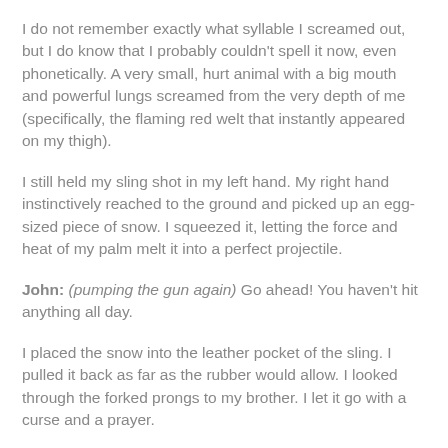I do not remember exactly what syllable I screamed out, but I do know that I probably couldn't spell it now, even phonetically. A very small, hurt animal with a big mouth and powerful lungs screamed from the very depth of me (specifically, the flaming red welt that instantly appeared on my thigh).
I still held my sling shot in my left hand. My right hand instinctively reached to the ground and picked up an egg-sized piece of snow. I squeezed it, letting the force and heat of my palm melt it into a perfect projectile.
John: (pumping the gun again) Go ahead! You haven't hit anything all day.
I placed the snow into the leather pocket of the sling. I pulled it back as far as the rubber would allow. I looked through the forked prongs to my brother. I let it go with a curse and a prayer.
zoooooooooooooooooooof-WHACK!